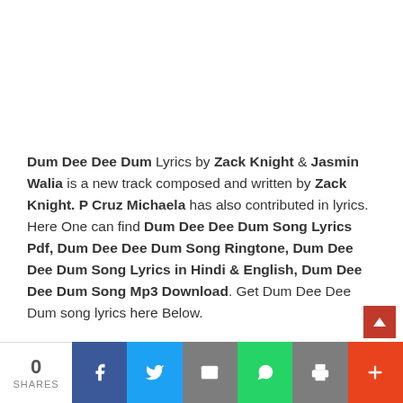Dum Dee Dee Dum Lyrics by Zack Knight & Jasmin Walia is a new track composed and written by Zack Knight. P Cruz Michaela has also contributed in lyrics. Here One can find Dum Dee Dee Dum Song Lyrics Pdf, Dum Dee Dee Dum Song Ringtone, Dum Dee Dee Dum Song Lyrics in Hindi & English, Dum Dee Dee Dum Song Mp3 Download. Get Dum Dee Dee Dum song lyrics here Below.
0 SHARES | Facebook | Twitter | Email | WhatsApp | Print | More